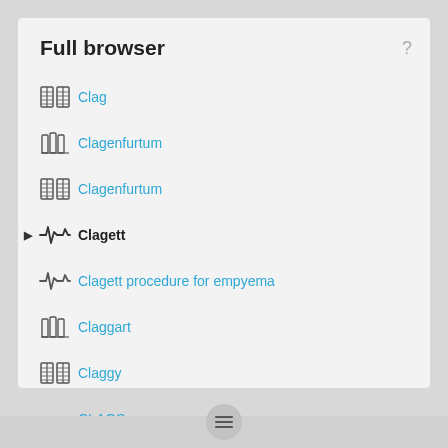Full browser
Clag
Clagenfurtum
Clagenfurtum
Clagett
Clagett procedure for empyema
Claggart
Claggy
CLAGS